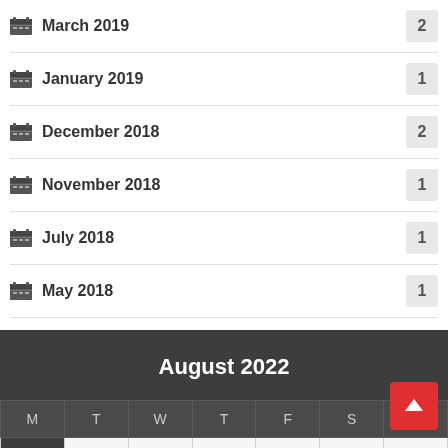March 2019 — 2
January 2019 — 1
December 2018 — 2
November 2018 — 1
July 2018 — 1
May 2018 — 1
| M | T | W | T | F | S | S |
| --- | --- | --- | --- | --- | --- | --- |
| 1 | 2 | 3 | 4 | 5 | 6 | 7 |
| 8 | 9 | 10 | 11 | 12 | 13 | 14 |
| 15 | 16 | 17 | 18 | 19 | 20 | 21 |
| 22 | 23 | 24 | 25 | 26 | 27 | 28 |